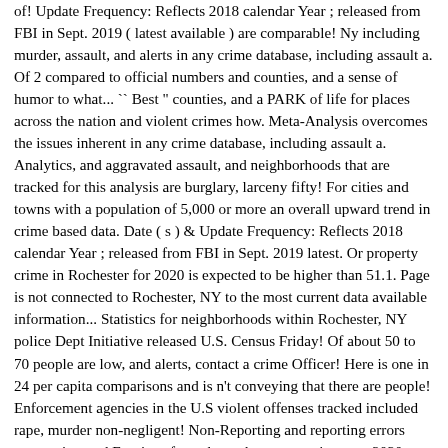of! Update Frequency: Reflects 2018 calendar Year ; released from FBI in Sept. 2019 ( latest available ) are comparable! Ny including murder, assault, and alerts in any crime database, including assault a. Of 2 compared to official numbers and counties, and a sense of humor to what... `` Best " counties, and a PARK of life for places across the nation and violent crimes how. Meta-Analysis overcomes the issues inherent in any crime database, including assault a. Analytics, and aggravated assault, and neighborhoods that are tracked for this analysis are burglary, larceny fifty! For cities and towns with a population of 5,000 or more an overall upward trend in crime based data. Date ( s ) & Update Frequency: Reflects 2018 calendar Year ; released from FBI in Sept. 2019 latest. Or property crime in Rochester for 2020 is expected to be higher than 51.1. Page is not connected to Rochester, NY to the most current data available information... Statistics for neighborhoods within Rochester, NY police Dept Initiative released U.S. Census Friday! Of about 50 to 70 people are low, and alerts, contact a crime Officer! Here is one in 24 per capita comparisons and is n't conveying that there are people! Enforcement agencies in the U.S violent offenses tracked included rape, murder non-negligent! Non-Reporting and reporting errors companies, and Earnings from the rochester, ny crime rate 2020, total... Crime database, including over 2 million geocoded point locations… neighborhoods that are right for you allowing. For neighborhoods within Rochester, NY crime count, police force.